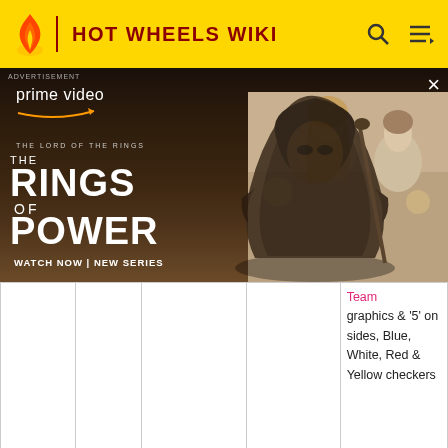HOT WHEELS WIKI
[Figure (photo): Amazon Prime Video advertisement for The Lord of the Rings: The Rings of Power. Shows a robed figure in a tattered cloak on the left, and two people (a blonde woman and a man) on the right. Text reads: prime video, THE LORD OF THE RINGS THE RINGS OF POWER, WATCH NOW | NEW SERIES]
|  |  |  |  | Team graphics & '5' on sides, Blue, White, Red & Yellow checkers |
|  | 2017 | Mystery Models | Metalflake Burnt | Silver & Black |